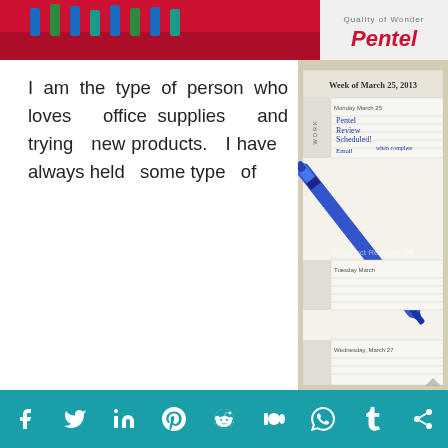[Figure (photo): Top strip showing red Pentel pen box with pen tips visible and Pentel logo on right side]
I am the type of person who loves office supplies and trying new products. I have always held some type of
[Figure (photo): Photo of a blue Pentel pen resting on an open weekly planner showing Week of March 25, 2013 with handwritten notes including 'Pentel Review Scheduled!' and 'Email when complete'. Watermark reads '©Product Review Cafe']
f  Twitter  in  Pinterest  Reddit  m  WhatsApp  Tumblr  share